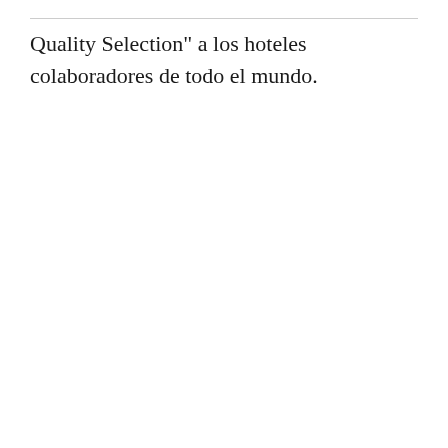Quality Selection" &nbsp;a los hoteles colaboradores de todo el mundo. &nbsp;